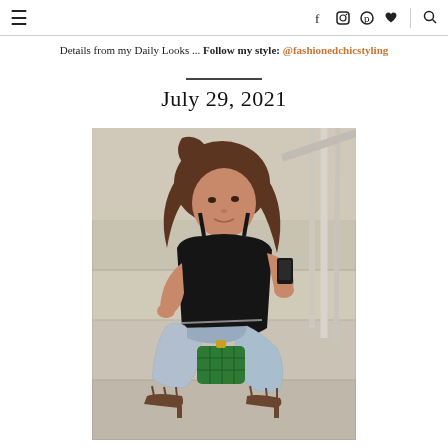≡  f  [instagram]  [pinterest]  [heart]  |  [search]
Details from my Daily Looks ... Follow my style: @fashionedchicstyling
July 29, 2021
[Figure (photo): A woman with long brown hair sitting on stone steps, wearing a black bodysuit, light-wash distressed jeans, brown strappy sandals, and holding a green handbag and a smartphone.]